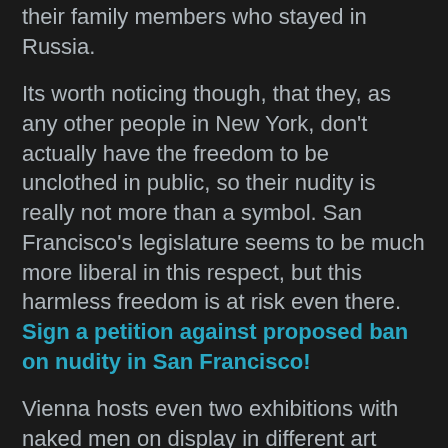their family members who stayed in Russia.
Its worth noticing though, that they, as any other people in New York, don't actually have the freedom to be unclothed in public, so their nudity is really not more than a symbol. San Francisco's legislature seems to be much more liberal in this respect, but this harmless freedom is at risk even there. Sign a petition against proposed ban on nudity in San Francisco!
Vienna hosts even two exhibitions with naked men on display in different art forms, from sculptures to paintings and photographs, and not in a small gallery, but in two major museums: Leopold and Lentos. But surprisingly, Viennese dwellers turned out to be not ready to see [male] nudity on posters in the city.
Go figure what's wrong with it… or better go check it out and show some support. You could actually even